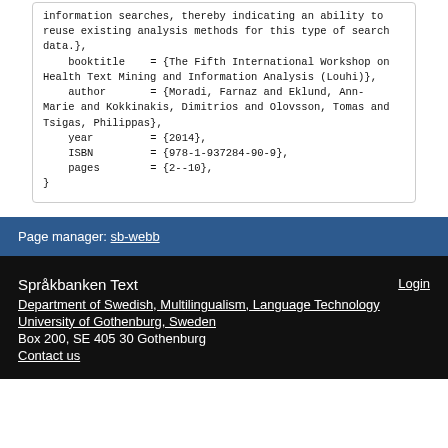information searches, thereby indicating an ability to reuse existing analysis methods for this type of search data.},
    booktitle    = {The Fifth International Workshop on Health Text Mining and Information Analysis (Louhi)},
    author       = {Moradi, Farnaz and Eklund, Ann-Marie and Kokkinakis, Dimitrios and Olovsson, Tomas and Tsigas, Philippas},
    year         = {2014},
    ISBN         = {978-1-937284-90-9},
    pages        = {2--10},
}
Page manager: sb-webb
Språkbanken Text
Department of Swedish, Multilingualism, Language Technology
University of Gothenburg, Sweden
Box 200, SE 405 30 Gothenburg
Contact us
Login